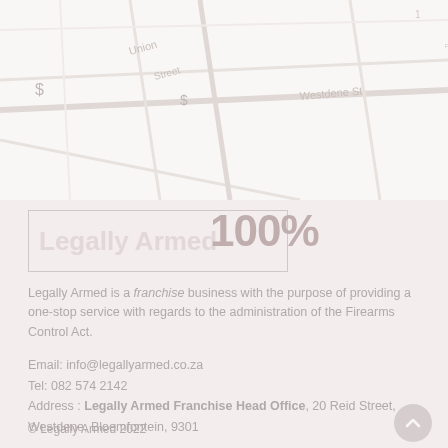[Figure (map): Faint background map showing street intersections with pale text labels and markers, light color scheme]
Legally Armed
100%
Legally Armed is a franchise business with the purpose of providing a one-stop service with regards to the administration of the Firearms Control Act.
Email: info@legallyarmed.co.za
Tel: 082 574 2142
Address : Legally Armed Franchise Head Office, 20 Reid Street, Westdene, Bloemfontein, 9301
© Legally Armed 2022